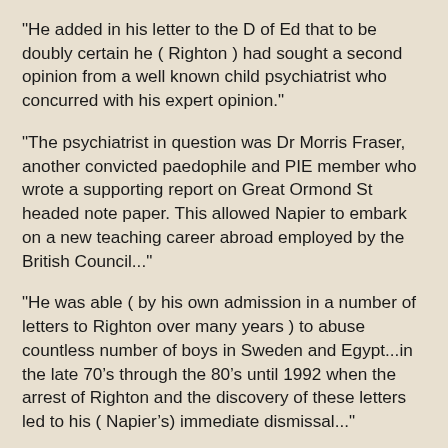"He added in his letter to the D of Ed that to be doubly certain he ( Righton ) had sought a second opinion from a well known child psychiatrist who concurred with his expert opinion."
"The psychiatrist in question was Dr Morris Fraser, another convicted paedophile and PIE member who wrote a supporting report on Great Ormond St headed note paper. This allowed Napier to embark on a new teaching career abroad employed by the British Council..."
"He was able ( by his own admission in a number of letters to Righton over many years ) to abuse countless number of boys in Sweden and Egypt...in the late 70’s through the 80’s until 1992 when the arrest of Righton and the discovery of these letters led to his ( Napier’s) immediate dismissal..."